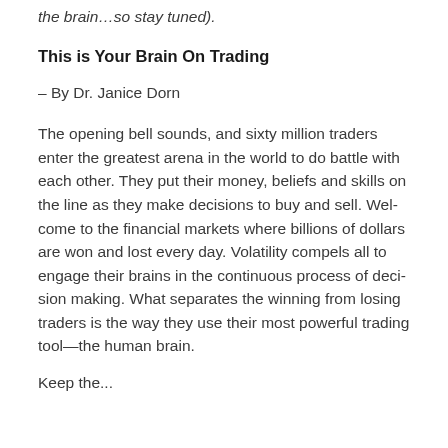the brain…so stay tuned).
This is Your Brain On Trading
– By Dr. Janice Dorn
The opening bell sounds, and sixty million traders enter the greatest arena in the world to do battle with each other. They put their money, beliefs and skills on the line as they make decisions to buy and sell. Welcome to the financial markets where billions of dollars are won and lost every day. Volatility compels all to engage their brains in the continuous process of decision making. What separates the winning from losing traders is the way they use their most powerful trading tool—the human brain.
Keep the...